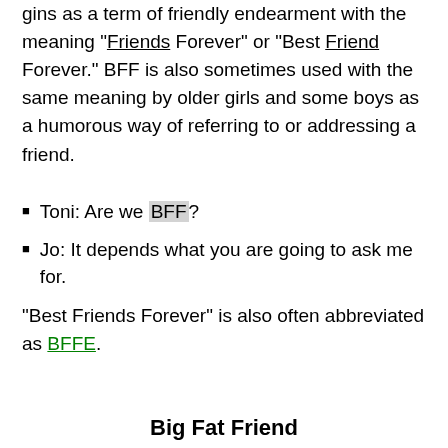gins as a term of friendly endearment with the meaning "Best Friends Forever" or "Best Friend Forever." BFF is also sometimes used with the same meaning by older girls and some boys as a humorous way of referring to or addressing a friend.
Toni: Are we BFF?
Jo: It depends what you are going to ask me for.
"Best Friends Forever" is also often abbreviated as BFFE.
Big Fat Friend